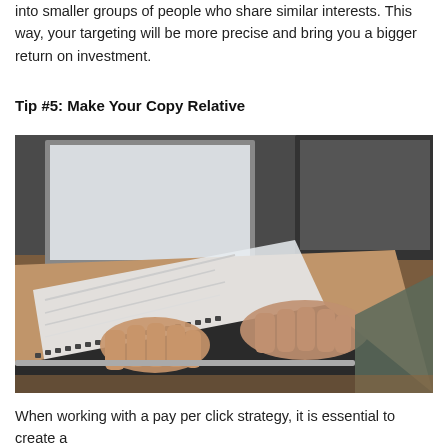into smaller groups of people who share similar interests. This way, your targeting will be more precise and bring you a bigger return on investment.
Tip #5: Make Your Copy Relative
[Figure (photo): Person typing on a laptop keyboard, with another monitor visible in the background. Hands shown in close-up on a MacBook-style laptop on a wooden desk.]
When working with a pay per click strategy, it is essential to create a